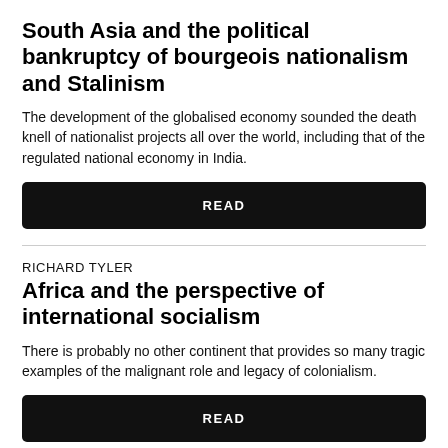South Asia and the political bankruptcy of bourgeois nationalism and Stalinism
The development of the globalised economy sounded the death knell of nationalist projects all over the world, including that of the regulated national economy in India.
READ
RICHARD TYLER
Africa and the perspective of international socialism
There is probably no other continent that provides so many tragic examples of the malignant role and legacy of colonialism.
READ